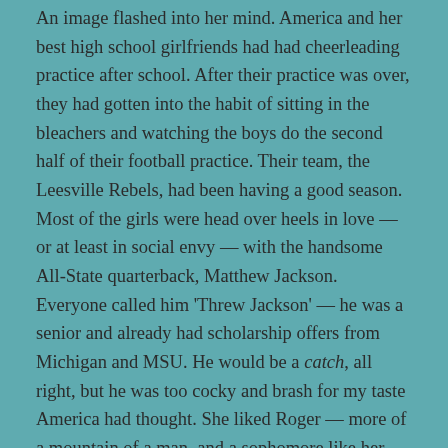An image flashed into her mind. America and her best high school girlfriends had had cheerleading practice after school. After their practice was over, they had gotten into the habit of sitting in the bleachers and watching the boys do the second half of their football practice. Their team, the Leesville Rebels, had been having a good season. Most of the girls were head over heels in love — or at least in social envy — with the handsome All-State quarterback, Matthew Jackson. Everyone called him 'Threw Jackson' — he was a senior and already had scholarship offers from Michigan and MSU. He would be a catch, all right, but he was too cocky and brash for my taste America had thought. She liked Roger — more of a mountain of a man, and a sophomore like her. She didn't think her parents would approve her dating a Senior, but Threw never asked her. Not exactly.
Nor did anyone else. Not until that fall day when the first hint of scarlet and gold adorned the maples that